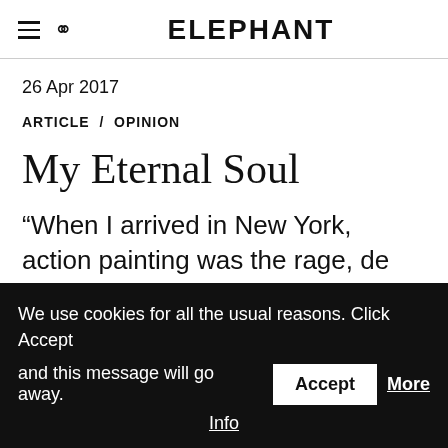ELEPHANT
26 Apr 2017
ARTICLE / OPINION
My Eternal Soul
“When I arrived in New York, action painting was the rage, de Kooning, Pollock and others. I wanted to be
We use cookies for all the usual reasons. Click Accept and this message will go away. Accept More Info